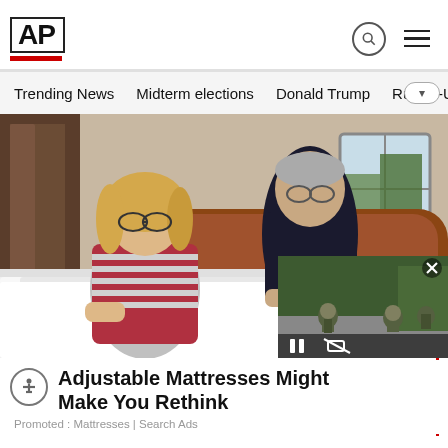AP
Trending News
Midterm elections
Donald Trump
Russia-Ukr
[Figure (photo): A couple standing beside a bed in a bedroom, woman in striped top with glasses on left, man in dark shirt on right leaning on bed]
[Figure (screenshot): Small video overlay showing soldiers crouching on a road with pause and mute icons]
Adjustable Mattresses Might Make You Rethink
Promoted : Mattresses | Search Ads